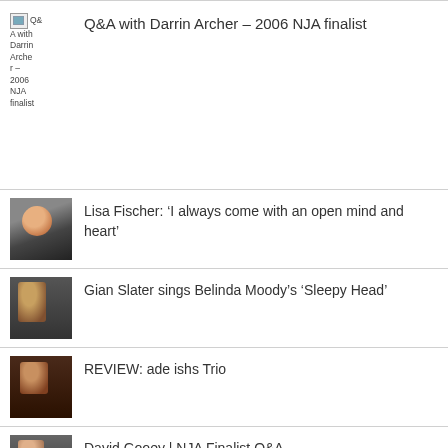Q&A with Darrin Archer – 2006 NJA finalist
Lisa Fischer: ‘I always come with an open mind and heart’
Gian Slater sings Belinda Moody's 'Sleepy Head'
REVIEW: ade ishs Trio
David Gooey | NJA Finalist Q&A